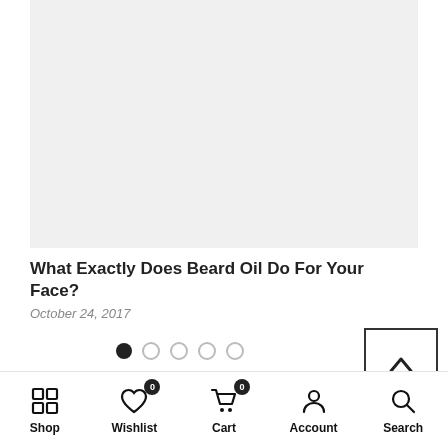[Figure (photo): Light gray placeholder image area for article thumbnail]
What Exactly Does Beard Oil Do For Your Face?
October 24, 2017
[Figure (infographic): Carousel dots: one filled black dot followed by four empty/outline dots, indicating first of five slides. Plus a scroll-to-top button (chevron up inside a square border) in the bottom right.]
Shop   Wishlist 0   Cart 0   Account   Search